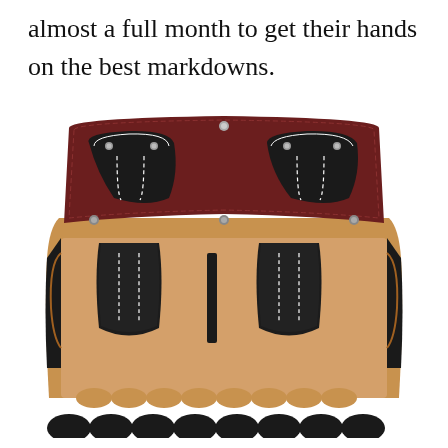almost a full month to get their hands on the best markdowns.
[Figure (photo): A leather tool belt pouch/bag shown open from above, revealing multiple pockets. The exterior flap is dark brown/burgundy leather with two black leather pocket inserts sewn with white stitching and metal rivets. The interior shows tan suede-like leather with multiple tool slots and black leather dividers.]